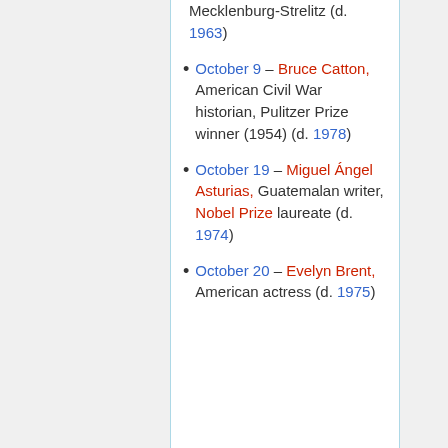Mecklenburg-Strelitz (d. 1963)
October 9 – Bruce Catton, American Civil War historian, Pulitzer Prize winner (1954) (d. 1978)
October 19 – Miguel Ángel Asturias, Guatemalan writer, Nobel Prize laureate (d. 1974)
October 20 – Evelyn Brent, American actress (d. 1975)